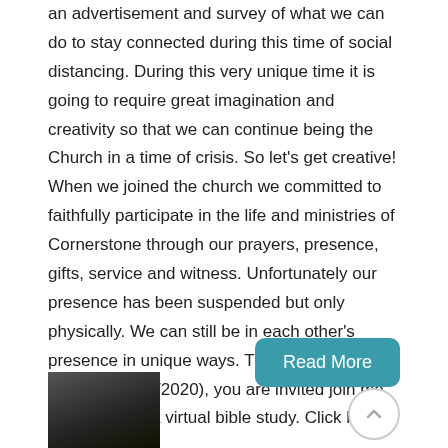an advertisement and survey of what we can do to stay connected during this time of social distancing. During this very unique time it is going to require great imagination and creativity so that we can continue being the Church in a time of crisis. So let's get creative! When we joined the church we committed to faithfully participate in the life and ministries of Cornerstone through our prayers, presence, gifts, service and witness. Unfortunately our presence has been suspended but only physically. We can still be in each other's presence in unique ways. This coming Tuesday (3/24/2020), you are invited join me and others in a virtual bible study. Click here... ...
Read More
[Figure (photo): Partial photo of a person, cropped at bottom of page]